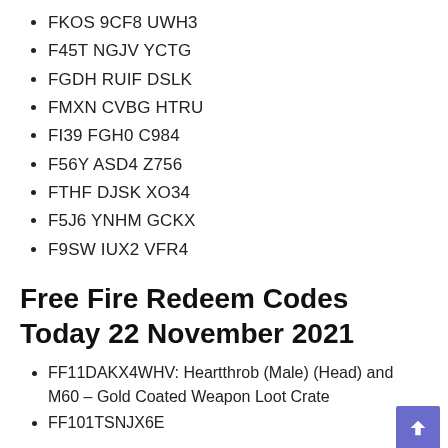FKOS 9CF8 UWH3
F45T NGJV YCTG
FGDH RUIF DSLK
FMXN CVBG HTRU
FI39 FGH0 C984
F56Y ASD4 Z756
FTHF DJSK XO34
F5J6 YNHM GCKX
F9SW IUX2 VFR4
Free Fire Redeem Codes Today 22 November 2021
FF11DAKX4WHV: Heartthrob (Male) (Head) and M60 – Gold Coated Weapon Loot Crate
FF101TSNJX6E